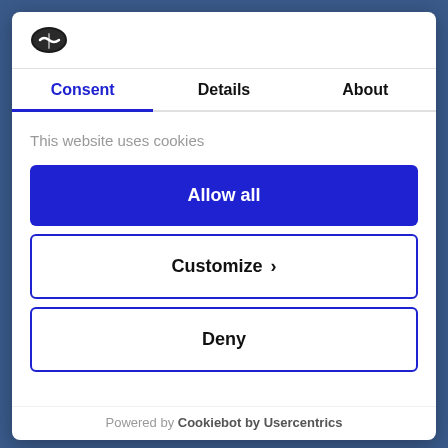[Figure (logo): Cookie consent manager logo - dark oval with white checkmark/cookie icon]
Consent | Details | About
This website uses cookies
Allow all
Customize >
Deny
Powered by Cookiebot by Usercentrics